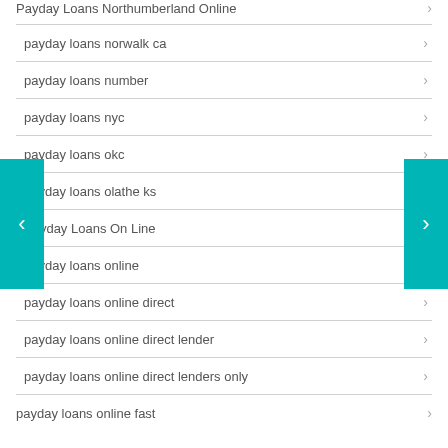Payday Loans Northumberland Online
payday loans norwalk ca
payday loans number
payday loans nyc
payday loans okc
payday loans olathe ks
Payday Loans On Line
payday loans online
payday loans online direct
payday loans online direct lender
payday loans online direct lenders only
payday loans online fast